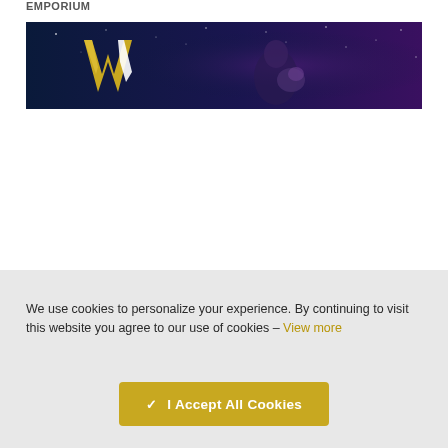EMPORIUM
[Figure (illustration): Dark space-themed banner with a large yellow/gold stylized 'W' logo on the left and a figure in the center-right against a starry purple-blue background]
We use cookies to personalize your experience. By continuing to visit this website you agree to our use of cookies – View more
✓ I Accept All Cookies